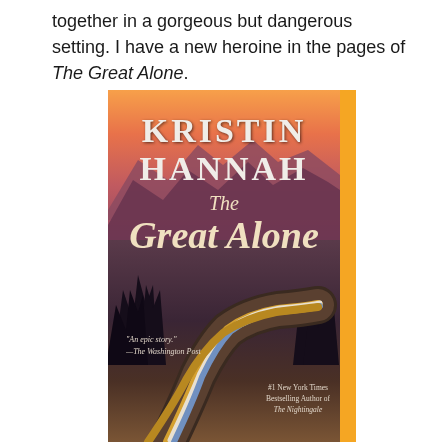together in a gorgeous but dangerous setting. I have a new heroine in the pages of The Great Alone.
[Figure (photo): Book cover of 'The Great Alone' by Kristin Hannah. Shows an Alaskan wilderness scene with an orange-pink sunset sky, silhouetted mountains, evergreen trees, a winding road with light trails in gold, white, and blue. Text includes author name 'KRISTIN HANNAH', title 'The Great Alone', a quote 'An epic story.' from The Washington Post, and '#1 New York Times Bestselling Author of The Nightingale'. Orange spine visible on the right edge.]